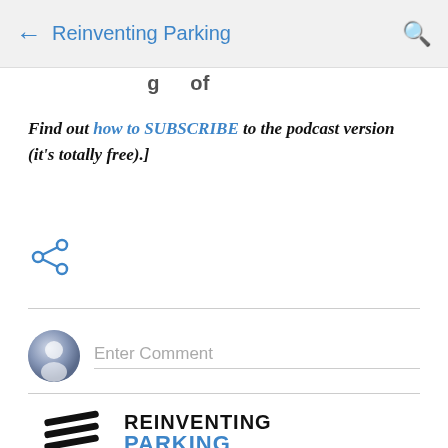← Reinventing Parking 🔍
Find out how to SUBSCRIBE to the podcast version (it's totally free).]
[Figure (other): Share icon (less-than style share symbol) in blue]
Enter Comment
[Figure (logo): Reinventing Parking logo with stylized lines graphic and bold text REINVENTING PARKING (PARKING partially visible in blue/black)]